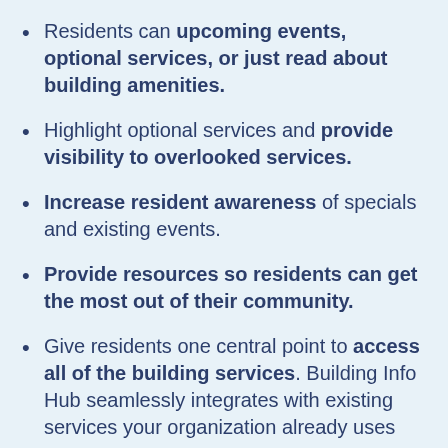Residents can upcoming events, optional services, or just read about building amenities.
Highlight optional services and provide visibility to overlooked services.
Increase resident awareness of specials and existing events.
Provide resources so residents can get the most out of their community.
Give residents one central point to access all of the building services. Building Info Hub seamlessly integrates with existing services your organization already uses